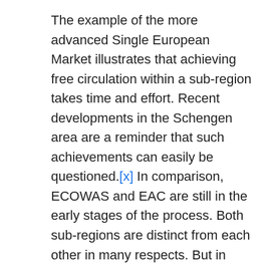The example of the more advanced Single European Market illustrates that achieving free circulation within a sub-region takes time and effort. Recent developments in the Schengen area are a reminder that such achievements can easily be questioned.[x] In comparison, ECOWAS and EAC are still in the early stages of the process. Both sub-regions are distinct from each other in many respects. But in their endeavour to create a subnational framework favourable to local economic expansion, they face similar challenges. As is often the case in matters of regional economic integration, the gap between good intentions and proper action is substantial. Implementing measures to integrate neighbouring economies within a regional sub-set requires changing scale by sharing national prerogatives, which itself requires strong political will and